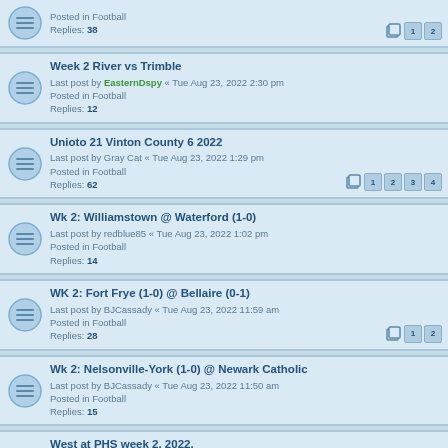Posted in Football
Replies: 38
Week 2 River vs Trimble
Last post by EasternDspy « Tue Aug 23, 2022 2:30 pm
Posted in Football
Replies: 12
Unioto 21 Vinton County 6 2022
Last post by Gray Cat « Tue Aug 23, 2022 1:29 pm
Posted in Football
Replies: 62
Wk 2: Williamstown @ Waterford (1-0)
Last post by redblue85 « Tue Aug 23, 2022 1:02 pm
Posted in Football
Replies: 14
WK 2: Fort Frye (1-0) @ Bellaire (0-1)
Last post by BJCassady « Tue Aug 23, 2022 11:59 am
Posted in Football
Replies: 28
Wk 2: Nelsonville-York (1-0) @ Newark Catholic
Last post by BJCassady « Tue Aug 23, 2022 11:50 am
Posted in Football
Replies: 15
West at PHS week 2. 2022.
Last post by transplant « Tue Aug 23, 2022 11:49 am
Posted in Football
Replies: 22
Belpre 2022 Football